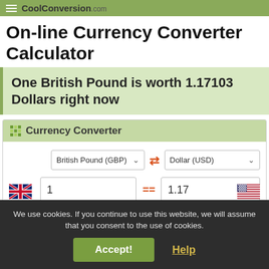CoolConversion.com
On-line Currency Converter Calculator
One British Pound is worth 1.17103 Dollars right now
Currency Converter
British Pound (GBP) ⇌ Dollar (USD) | 1 = 1.17
We use cookies. If you continue to use this website, we will assume that you consent to the use of cookies.